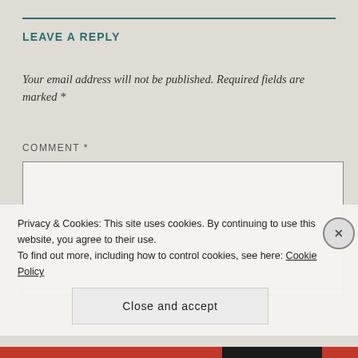LEAVE A REPLY
Your email address will not be published. Required fields are marked *
COMMENT *
Privacy & Cookies: This site uses cookies. By continuing to use this website, you agree to their use.
To find out more, including how to control cookies, see here: Cookie Policy
Close and accept